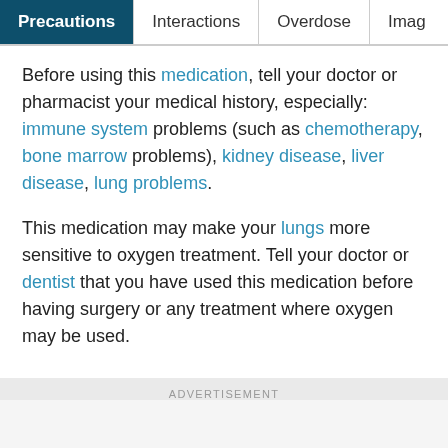Precautions | Interactions | Overdose | Imag
Before using this medication, tell your doctor or pharmacist your medical history, especially: immune system problems (such as chemotherapy, bone marrow problems), kidney disease, liver disease, lung problems.
This medication may make your lungs more sensitive to oxygen treatment. Tell your doctor or dentist that you have used this medication before having surgery or any treatment where oxygen may be used.
ADVERTISEMENT